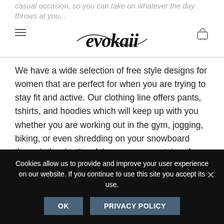casual occasion, so you can take on whatever the day throws at you...
[Figure (logo): Evokaii brand logo in cursive script]
We have a wide selection of free style designs for women that are perfect for when you are trying to stay fit and active. Our clothing line offers pants, tshirts, and hoodies which will keep up with you whether you are working out in the gym, jogging, biking, or even shredding on your snowboard through the depths of the snowy mountains. As we are mostly on the move, we have made all our clothes to be comfortable which allows them to flow with you. Buy your trendy surf fashion and enjoy the combine your passion with your feeling and look.
Cookies allow us to provide and improve your user experience on our website. If you continue to use this site you accept its use.